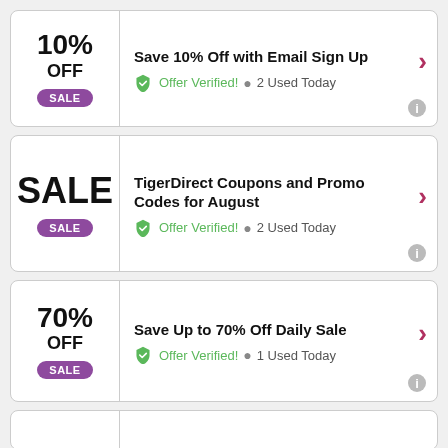10% OFF SALE - Save 10% Off with Email Sign Up - Offer Verified! 2 Used Today
SALE - TigerDirect Coupons and Promo Codes for August - Offer Verified! 2 Used Today
70% OFF SALE - Save Up to 70% Off Daily Sale - Offer Verified! 1 Used Today